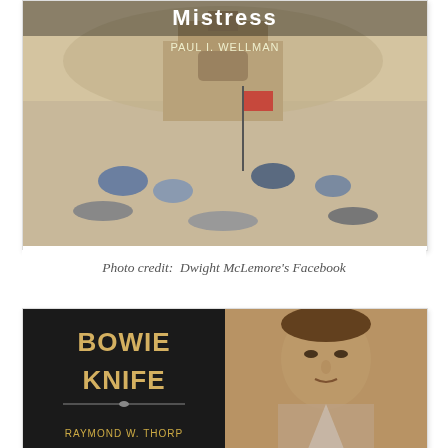[Figure (photo): Book cover of 'Mistress' by Paul I. Wellman showing a battle scene with soldiers fighting, colorful illustrated cover]
Photo credit:  Dwight McLemore's Facebook
[Figure (photo): Book cover of 'Bowie Knife' by Raymond W. Thorp, split cover showing decorative gothic title text on black background on the left and a sepia portrait photo of a man on the right]